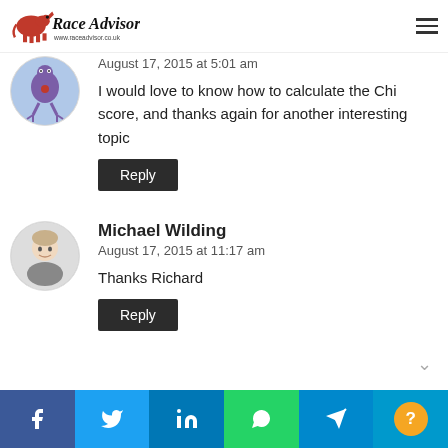Race Advisor — www.raceadvisor.co.uk
August 17, 2015 at 5:01 am
I would love to know how to calculate the Chi score, and thanks again for another interesting topic
Reply
Michael Wilding
August 17, 2015 at 11:17 am
Thanks Richard
Reply
Facebook Twitter LinkedIn WhatsApp Telegram Help